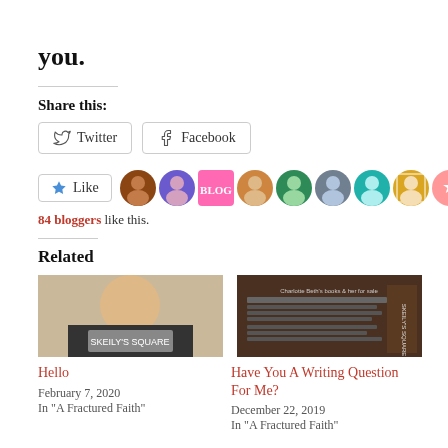you.
Share this:
Twitter  Facebook
Like  84 bloggers like this.
Related
[Figure (photo): Man smiling holding a book - Skeily's Square]
Hello
February 7, 2020
In "A Fractured Faith"
[Figure (photo): Book cover - Skeily's Square dark background]
Have You A Writing Question For Me?
December 22, 2019
In "A Fractured Faith"